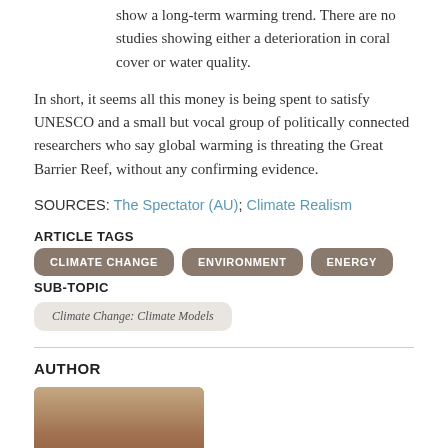show a long-term warming trend. There are no studies showing either a deterioration in coral cover or water quality.
In short, it seems all this money is being spent to satisfy UNESCO and a small but vocal group of politically connected researchers who say global warming is threating the Great Barrier Reef, without any confirming evidence.
SOURCES: The Spectator (AU); Climate Realism
ARTICLE TAGS
CLIMATE CHANGE
ENVIRONMENT
ENERGY
SUB-TOPIC
Climate Change: Climate Models
AUTHOR
[Figure (photo): Author headshot photo, partial view showing top of head and face of a person with light hair]